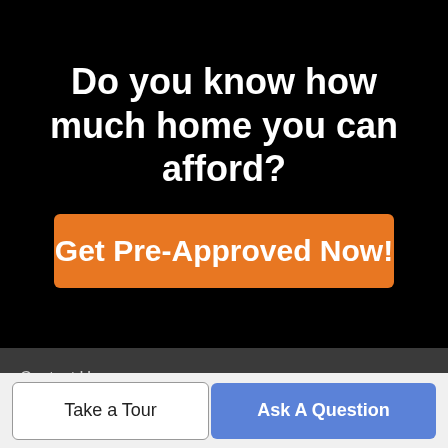Do you know how much home you can afford?
Get Pre-Approved Now!
Contact Us
Resources
Take a Tour
Ask A Question